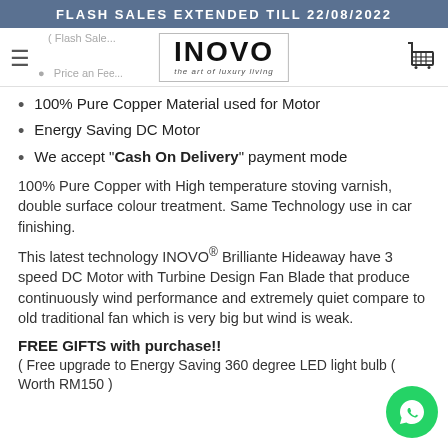FLASH SALES EXTENDED TILL 22/08/2022
[Figure (logo): INOVO logo with tagline 'the art of luxury living']
100% Pure Copper Material used for Motor
Energy Saving DC Motor
We accept "Cash On Delivery" payment mode
100% Pure Copper with High temperature stoving varnish, double surface colour treatment. Same Technology use in car finishing.
This latest technology INOVO® Brilliante Hideaway have 3 speed DC Motor with Turbine Design Fan Blade that produce continuously wind performance and extremely quiet compare to old traditional fan which is very big but wind is weak.
FREE GIFTS with purchase!! ( Free upgrade to Energy Saving 360 degree LED light bulb ( Worth RM150 )